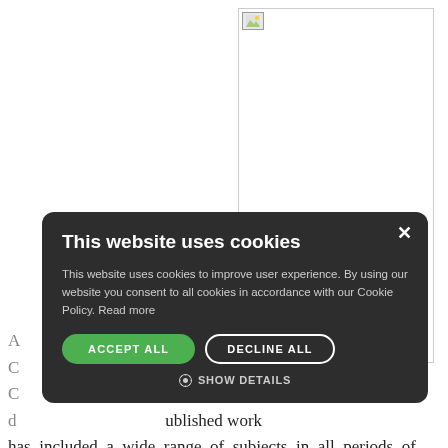[Figure (screenshot): Cookie consent modal overlay on a webpage. Dark rounded modal with 'This website uses cookies' title, descriptive text, Accept All and Decline All buttons, and Show Details option. Behind the modal is a partially visible white rectangle image and article text.]
...ture, Professor ...ity and of Jesus ...f of the Welsh ...ublished work has included a wide range of subjects in all periods of